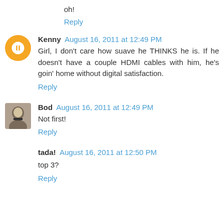oh!
Reply
Kenny August 16, 2011 at 12:49 PM
Girl, I don't care how suave he THINKS he is. If he doesn't have a couple HDMI cables with him, he's goin' home without digital satisfaction.
Reply
Bod August 16, 2011 at 12:49 PM
Not first!
Reply
tada! August 16, 2011 at 12:50 PM
top 3?
Reply